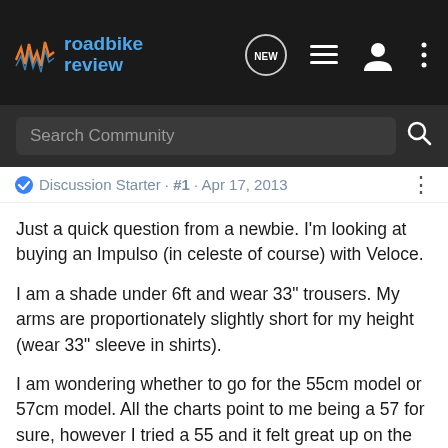roadbike review
Search Community
Discussion Starter · #1 · Apr 17, 2013
Just a quick question from a newbie. I'm looking at buying an Impulso (in celeste of course) with Veloce.
I am a shade under 6ft and wear 33" trousers. My arms are proportionately slightly short for my height (wear 33" sleeve in shirts).
I am wondering whether to go for the 55cm model or 57cm model. All the charts point to me being a 57 for sure, however I tried a 55 and it felt great up on the hoods, but my back was arched a little in the drops and I felt "low". I'm aware the default stem is already on the long side in the C2C range. Therefore, I'm wondering whether to get the 57 and shorten the stem (if needed).